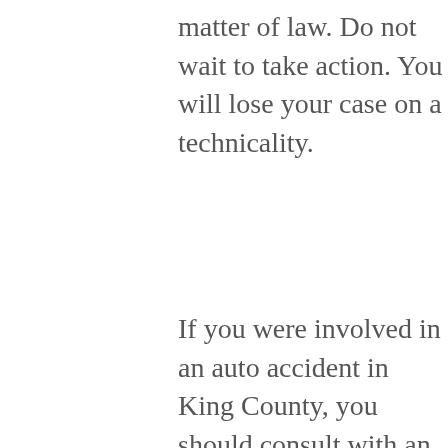matter of law. Do not wait to take action. You will lose your case on a technicality.
If you were involved in an auto accident in King County, you should consult with an experienced Enumclaw car accident lawyer as soon as possible after your crash. The sooner you speak to an attorney, the sooner you can get the full settlement offer